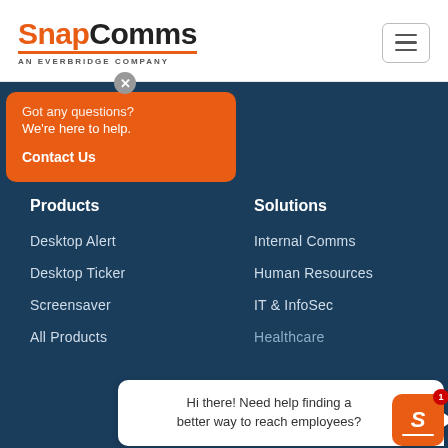[Figure (logo): SnapComms logo with orange S and tagline AN EVERBRIDGE COMPANY, plus hamburger menu button]
Got any questions? We're here to help. Contact Us
Products
Solutions
Desktop Alert
Internal Comms
Desktop Ticker
Human Resources
Screensaver
IT & InfoSec
All Products
Hi there! Need help finding a better way to reach employees?
Healthcare